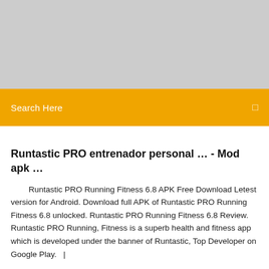[Figure (other): Gray banner/advertisement placeholder area at the top of the page]
Search Here
Runtastic PRO entrenador personal … - Mod apk …
Runtastic PRO Running Fitness 6.8 APK Free Download Letest version for Android. Download full APK of Runtastic PRO Running Fitness 6.8 unlocked. Runtastic PRO Running Fitness 6.8 Review. Runtastic PRO Running, Fitness is a superb health and fitness app which is developed under the banner of Runtastic, Top Developer on Google Play.   |